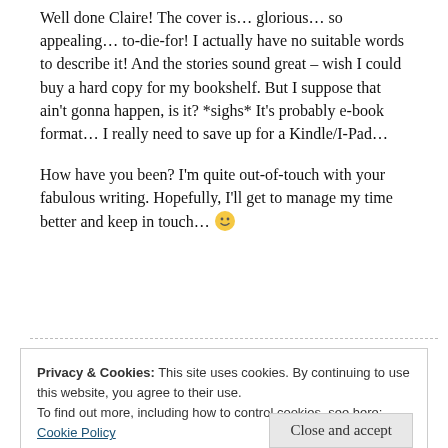Well done Claire! The cover is... glorious... so appealing... to-die-for! I actually have no suitable words to describe it! And the stories sound great – wish I could buy a hard copy for my bookshelf. But I suppose that ain't gonna happen, is it? *sighs* It's probably e-book format... I really need to save up for a Kindle/I-Pad...
How have you been? I'm quite out-of-touch with your fabulous writing. Hopefully, I'll get to manage my time better and keep in touch... 🙂
Privacy & Cookies: This site uses cookies. By continuing to use this website, you agree to their use.
To find out more, including how to control cookies, see here: Cookie Policy
Close and accept